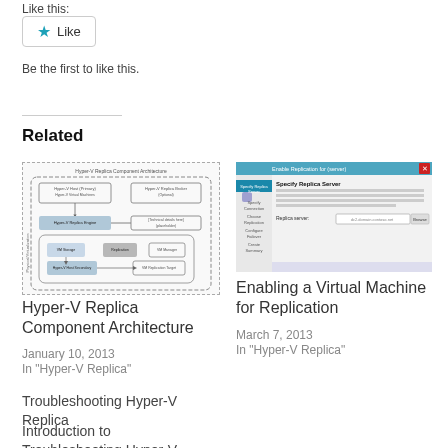Like this:
[Figure (screenshot): Like button widget with star icon]
Be the first to like this.
Related
[Figure (engineering-diagram): Hyper-V Replica Component Architecture diagram with flowchart boxes and arrows]
Hyper-V Replica Component Architecture
January 10, 2013
In "Hyper-V Replica"
[Figure (screenshot): Enable Replication wizard screenshot showing Specify Replica Server dialog]
Enabling a Virtual Machine for Replication
March 7, 2013
In "Hyper-V Replica"
Troubleshooting Hyper-V Replica
Introduction to Troubleshooting Hyper-V...